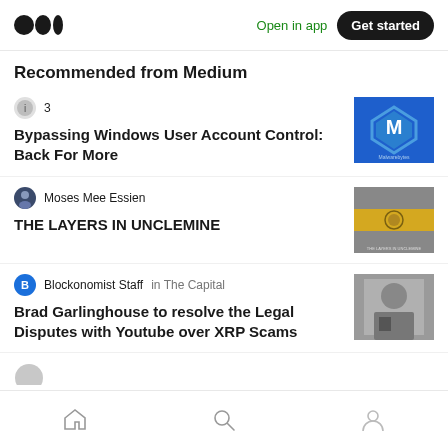Open in app | Get started
Recommended from Medium
3 | Bypassing Windows User Account Control: Back For More
Moses Mee Essien | THE LAYERS IN UNCLEMINE
Blockonomist Staff in The Capital | Brad Garlinghouse to resolve the Legal Disputes with Youtube over XRP Scams
Home | Search | Profile